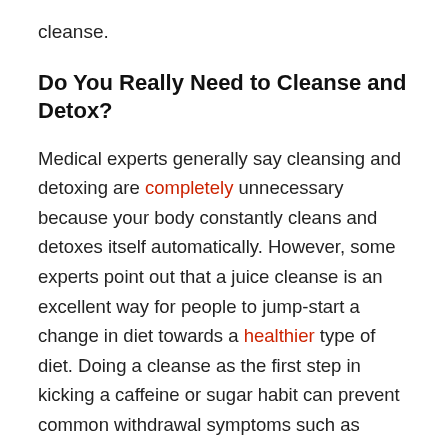cleanse.
Do You Really Need to Cleanse and Detox?
Medical experts generally say cleansing and detoxing are completely unnecessary because your body constantly cleans and detoxes itself automatically. However, some experts point out that a juice cleanse is an excellent way for people to jump-start a change in diet towards a healthier type of diet. Doing a cleanse as the first step in kicking a caffeine or sugar habit can prevent common withdrawal symptoms such as headaches and cravings. And the number of people who report that cleanses make them feel remarkably better suggest that cleansing is doing something beneficial.